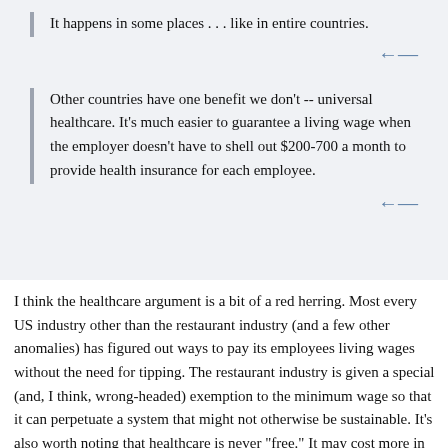It happens in some places . . . like in entire countries.
Other countries have one benefit we don't -- universal healthcare. It's much easier to guarantee a living wage when the employer doesn't have to shell out $200-700 a month to provide health insurance for each employee.
I think the healthcare argument is a bit of a red herring. Most every US industry other than the restaurant industry (and a few other anomalies) has figured out ways to pay its employees living wages without the need for tipping. The restaurant industry is given a special (and, I think, wrong-headed) exemption to the minimum wage so that it can perpetuate a system that might not otherwise be sustainable. It's also worth noting that healthcare is never "free." It may cost more in the US, but it's not free anywhere. One way or another, it gets paid for -- either by taxes or by employee contributions. In France, as I understand it (and this is not an invitation to a debate about healthcare -- I'm just trying to define its relevance to the case in point), healthcare is